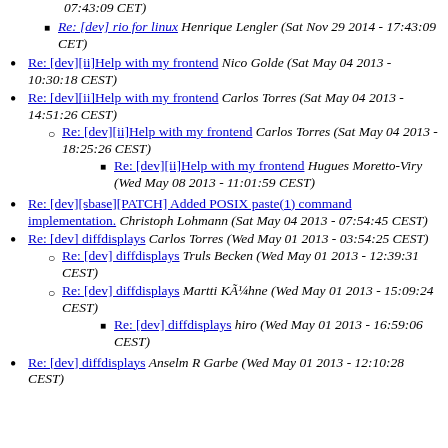Re: [dev] rio for linux Henrique Lengler (Sat Nov 29 2014 - 17:43:09 CET)
Re: [dev][ii]Help with my frontend Nico Golde (Sat May 04 2013 - 10:30:18 CEST)
Re: [dev][ii]Help with my frontend Carlos Torres (Sat May 04 2013 - 14:51:26 CEST)
Re: [dev][ii]Help with my frontend Carlos Torres (Sat May 04 2013 - 18:25:26 CEST)
Re: [dev][ii]Help with my frontend Hugues Moretto-Viry (Wed May 08 2013 - 11:01:59 CEST)
Re: [dev][sbase][PATCH] Added POSIX paste(1) command implementation. Christoph Lohmann (Sat May 04 2013 - 07:54:45 CEST)
Re: [dev] diffdisplays Carlos Torres (Wed May 01 2013 - 03:54:25 CEST)
Re: [dev] diffdisplays Truls Becken (Wed May 01 2013 - 12:39:31 CEST)
Re: [dev] diffdisplays Martti Küahne (Wed May 01 2013 - 15:09:24 CEST)
Re: [dev] diffdisplays hiro (Wed May 01 2013 - 16:59:06 CEST)
Re: [dev] diffdisplays Anselm R Garbe (Wed May 01 2013 - 12:10:28 CEST)